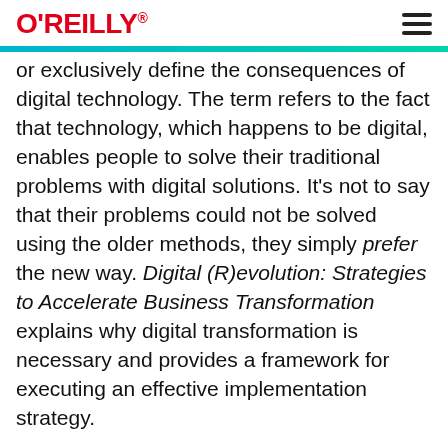O'REILLY
or exclusively define the consequences of digital technology. The term refers to the fact that technology, which happens to be digital, enables people to solve their traditional problems with digital solutions. It's not to say that their problems could not be solved using the older methods, they simply prefer the new way. Digital (R)evolution: Strategies to Accelerate Business Transformation explains why digital transformation is necessary and provides a framework for executing an effective implementation strategy.